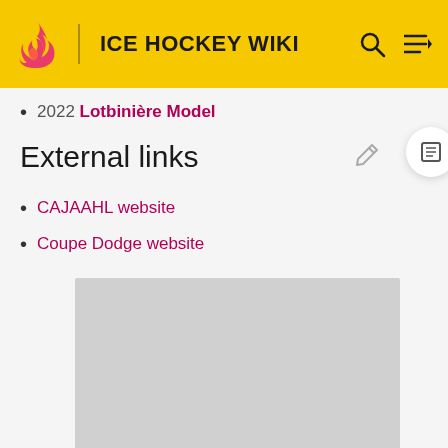ICE HOCKEY WIKI
2022 Lotbinière Model
External links
CAJAAHL website
Coupe Dodge website
[Figure (other): Grey placeholder image block]